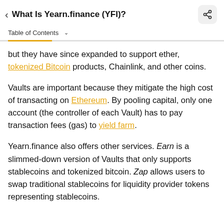What Is Yearn.finance (YFI)?
Table of Contents
but they have since expanded to support ether, tokenized Bitcoin products, Chainlink, and other coins.
Vaults are important because they mitigate the high cost of transacting on Ethereum. By pooling capital, only one account (the controller of each Vault) has to pay transaction fees (gas) to yield farm.
Yearn.finance also offers other services. Earn is a slimmed-down version of Vaults that only supports stablecoins and tokenized bitcoin. Zap allows users to swap traditional stablecoins for liquidity provider tokens representing stablecoins.